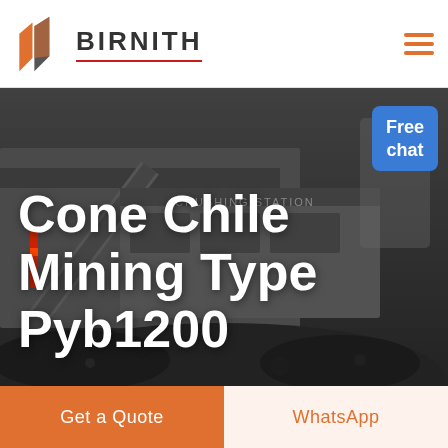BIRNITH
[Figure (photo): Industrial mobile crushing station with heavy machinery, conveyor belts, and a large pile of crushed rock/coal. Dark industrial background with 'CRUSHING STATION' text visible on equipment.]
Cone Chile Mining Type Pyb1200
Free chat
Get a Quote
WhatsApp